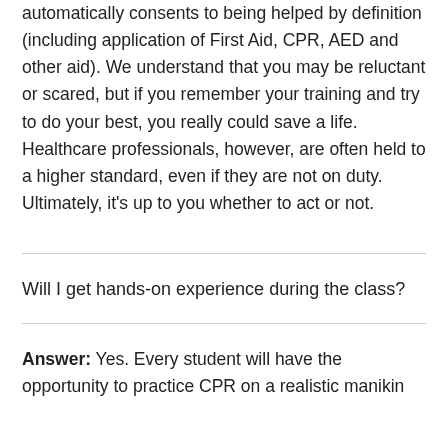automatically consents to being helped by definition (including application of First Aid, CPR, AED and other aid). We understand that you may be reluctant or scared, but if you remember your training and try to do your best, you really could save a life. Healthcare professionals, however, are often held to a higher standard, even if they are not on duty. Ultimately, it's up to you whether to act or not.
Will I get hands-on experience during the class?
Answer: Yes. Every student will have the opportunity to practice CPR on a realistic manikin